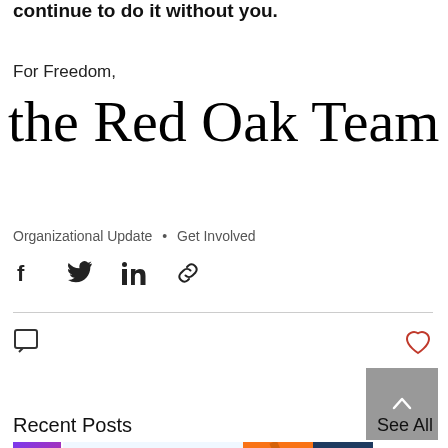continue to do it without you.
For Freedom,
the Red Oak Team
Organizational Update  •  Get Involved
[Figure (infographic): Social share icons: Facebook, Twitter, LinkedIn, and a link/copy icon]
[Figure (infographic): Comment bubble icon on left, heart/like icon on right (red outline heart)]
[Figure (infographic): Grey scroll-to-top button with upward chevron arrow]
Recent Posts
See All
[Figure (photo): Partial thumbnail images of recent posts at the bottom of the page]